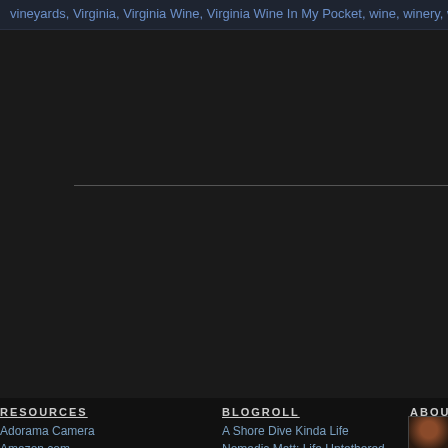vineyards, Virginia, Virginia Wine, Virginia Wine In My Pocket, wine, winery, wood, V...
RESOURCES
BLOGROLL
ABOUT
Adorama Camera
Amazon.com
B&H Photo Video
A Shore Dive Kinda Life
Nomadic Matt: Life Untethered
Rehoboth In My Pocket
Stuck in Customs
[Figure (photo): Small thumbnail photo of a person with face paint or costume]